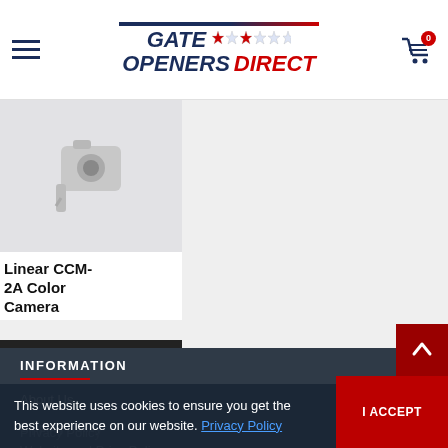Gate Openers Direct
[Figure (photo): Product thumbnail image of Linear CCM-2A Color Camera, shown against light gray background]
Linear CCM-2A Color Camera
PLEASE CALL
INFORMATION
About Us
Sipping Policy
Privacy Policy
Website and Price Policy
This website uses cookies to ensure you get the best experience on our website. Privacy Policy
I ACCEPT